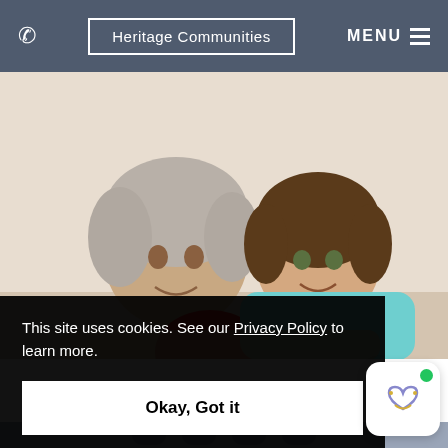Heritage Communities  MENU
[Figure (photo): Photo of an elderly woman with gray hair smiling, with a younger woman in a teal/mint polo shirt behind her, both looking at the camera. The younger woman appears to be a caregiver.]
This site uses cookies. See our Privacy Policy to learn more.
Okay, Got it